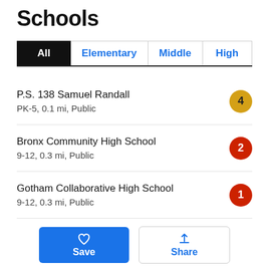Schools
All | Elementary | Middle | High
P.S. 138 Samuel Randall
PK-5, 0.1 mi, Public
Rating: 4
Bronx Community High School
9-12, 0.3 mi, Public
Rating: 2
Gotham Collaborative High School
9-12, 0.3 mi, Public
Rating: 1
Antonia Pantoja Preperatory Academy
Rating: 3